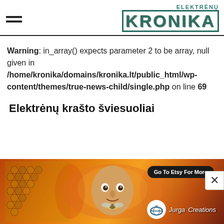ELEKTRĖNŲ KRONIKA
Warning: in_array() expects parameter 2 to be array, null given in /home/kronika/domains/kronika.lt/public_html/wp-content/themes/true-news-child/single.php on line 69
Elektrėnų krašto šviesuoliai
[Figure (illustration): Advertisement banner for Jurga Creations with colorful painterly artwork featuring a face with honeycomb patterns, warm orange and gold tones. Button reads 'Go To Etsy For More'.]